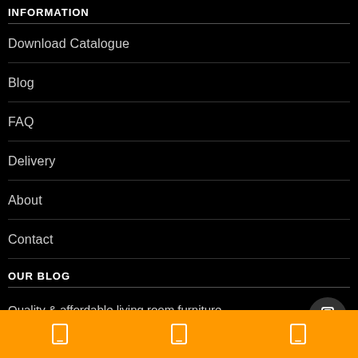INFORMATION
Download Catalogue
Blog
FAQ
Delivery
About
Contact
OUR BLOG
Quality & affordable living room furniture in C...
Jun 13, 2022